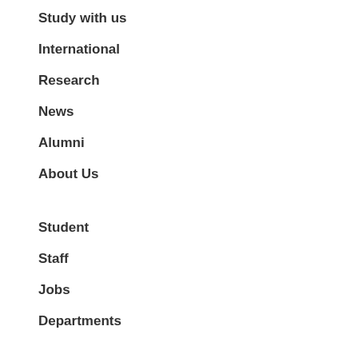Study with us
International
Research
News
Alumni
About Us
Student
Staff
Jobs
Departments
Contact
T: +44 (0)1970 622900